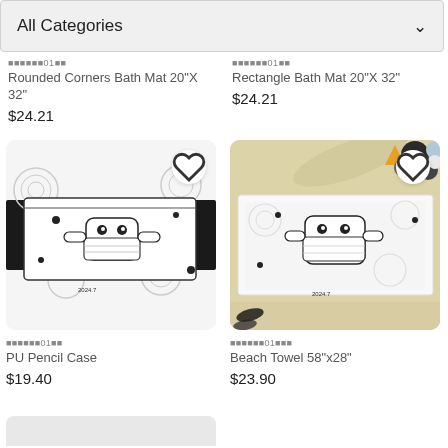All Categories
🟥🟥🟥🟥🟥01🟥🟥
Rounded Corners Bath Mat 20"X 32"
$24.21
🟥🟥🟥🟥🟥01🟥🟥
Rectangle Bath Mat 20"X 32"
$24.21
[Figure (photo): PU Pencil Case with black and white illustrated pattern featuring a character wearing a face mask, on light gray background]
[Figure (photo): Beach Towel 58"x28" with same black and white illustrated pattern, shown on sandy beach with starfish and dark baubles in background]
🟥🟥🟥🟥🟥01🟥🟥
PU Pencil Case
$19.40
🟥🟥🟥🟥🟥01🟥🟥🟥
Beach Towel 58"x28"
$23.90